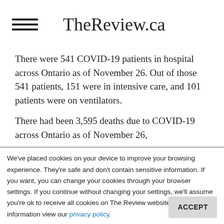TheReview.ca
There were 541 COVID-19 patients in hospital across Ontario as of November 26. Out of those 541 patients, 151 were in intensive care, and 101 patients were on ventilators.
There had been 3,595 deaths due to COVID-19 across Ontario as of November 26,
We've placed cookies on your device to improve your browsing experience. They're safe and don't contain sensitive information. If you want, you can change your cookies through your browser settings. If you continue without changing your settings, we'll assume you're ok to receive all cookies on The Review website. For more information view our privacy policy.